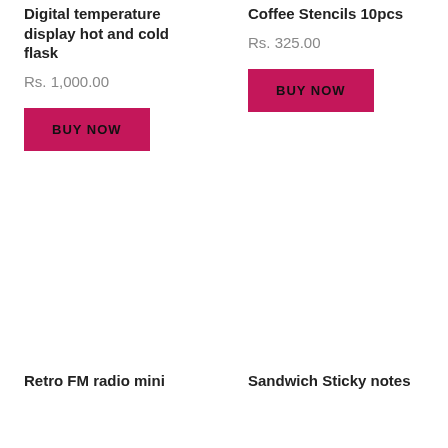Digital temperature display hot and cold flask
Coffee Stencils 10pcs
Rs. 1,000.00
Rs. 325.00
BUY NOW
BUY NOW
Retro FM radio mini
Sandwich Sticky notes